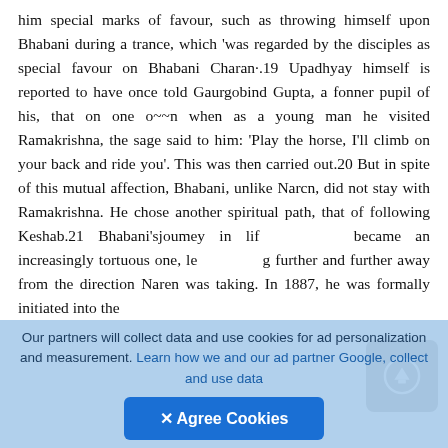him special marks of favour, such as throwing himself upon Bhabani during a trance, which 'was regarded by the disciples as special favour on Bhabani Charan·.19 Upadhyay himself is reported to have once told Gaurgobind Gupta, a fonner pupil of his, that on one o~~n when as a young man he visited Ramakrishna, the sage said to him: 'Play the horse, I'll climb on your back and ride you'. This was then carried out.20 But in spite of this mutual affection, Bhabani, unlike Narcn, did not stay with Ramakrishna. He chose another spiritual path, that of following Keshab.21 Bhabani'sjoumey in life became an increasingly tortuous one, leading further and further away from the direction Naren was taking. In 1887, he was formally initiated into the
Our partners will collect data and use cookies for ad personalization and measurement. Learn how we and our ad partner Google, collect and use data